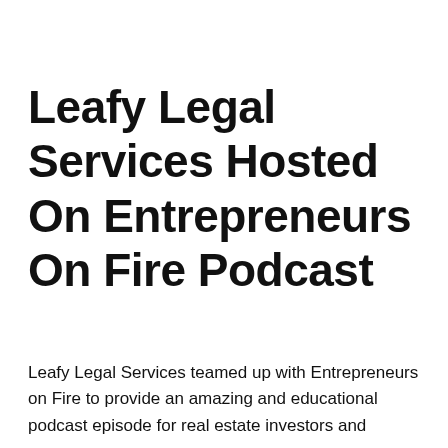Leafy Legal Services Hosted On Entrepreneurs On Fire Podcast
Leafy Legal Services teamed up with Entrepreneurs on Fire to provide an amazing and educational podcast episode for real estate investors and